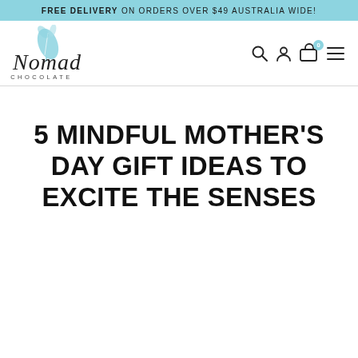FREE DELIVERY ON ORDERS OVER $49 AUSTRALIA WIDE!
[Figure (logo): Nomad Chocolate logo with stylized cacao leaf illustration and cursive Nomad text with CHOCOLATE in small caps beneath]
5 MINDFUL MOTHER'S DAY GIFT IDEAS TO EXCITE THE SENSES